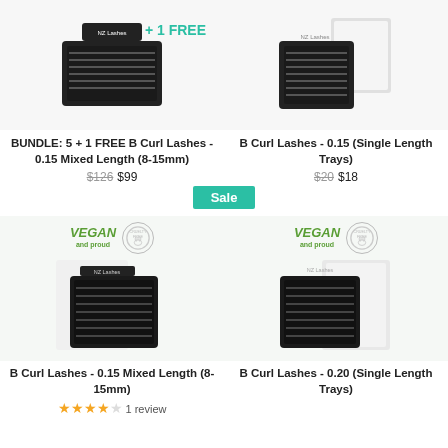[Figure (photo): Lash tray product image with '+ 1 FREE' teal text overlay]
BUNDLE: 5 + 1 FREE B Curl Lashes - 0.15 Mixed Length (8-15mm)
$126 $99
[Figure (photo): Open lash tray product image]
B Curl Lashes - 0.15 (Single Length Trays)
$20 $18
Sale
[Figure (photo): Open lash tray with vegan and cruelty free badges]
B Curl Lashes - 0.15 Mixed Length (8-15mm)
★★★★☆ 1 review
[Figure (photo): Open lash tray with vegan and cruelty free badges]
B Curl Lashes - 0.20 (Single Length Trays)